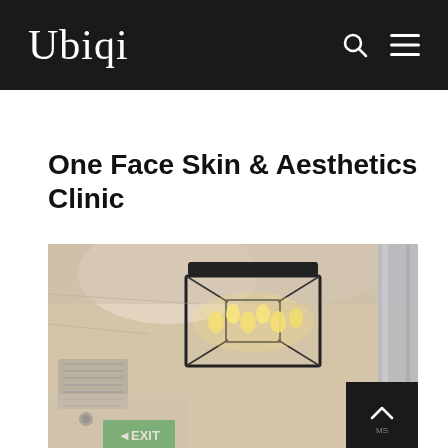Ubiqi
One Face Skin & Aesthetics Clinic
[Figure (photo): Interior photo of a clinic ceiling with a geometric black-framed pendant lamp containing multiple Edison bulbs, a white ceiling with ventilation grille, a green EXIT sign, and a reflective metal pillar on the right side.]